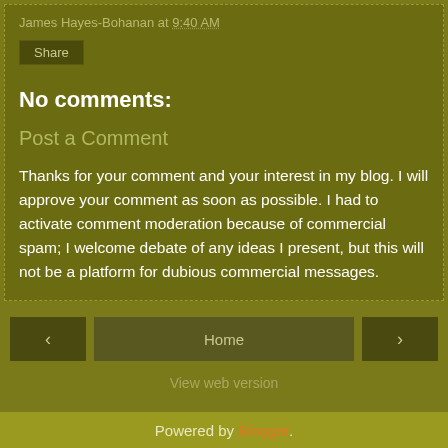James Hayes-Bohanan at 9:40 AM
Share
No comments:
Post a Comment
Thanks for your comment and your interest in my blog. I will approve your comment as soon as possible. I had to activate comment moderation because of commercial spam; I welcome debate of any ideas I present, but this will not be a platform for dubious commercial messages.
‹
Home
›
View web version
Powered by Blogger.